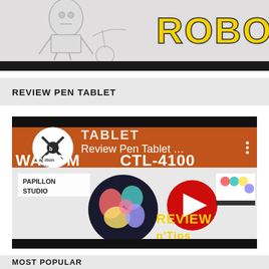[Figure (illustration): Top banner showing a comic/manga style sketch of a robot figure on the left with 'ROBOT' text in yellow on the right, black bar at the bottom]
REVIEW PEN TABLET
[Figure (screenshot): YouTube video thumbnail for 'Review Pen Tablet...' showing WACOM CTL-4100 tablet review by Papillon Studio with play button overlay, colorful tablet accessories, and 'REVIEW n'Tips' text in pixel font style]
MOST POPULAR
[Figure (illustration): Thumbnail image for Komik Mak Irits showing cartoon characters]
KOMIK MAK IRITS, SALAH SATU IP DEVELOPMENT PAPILLON